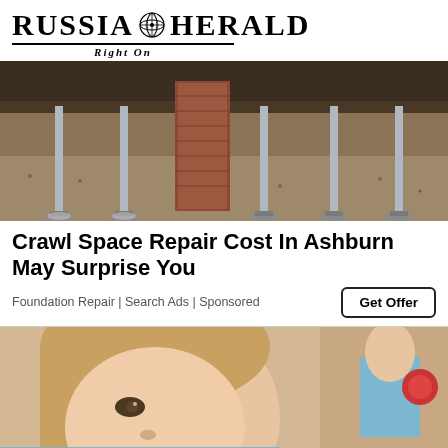RUSSIA HERALD — Right On
[Figure (photo): Crawl space under a house with metal support posts/piers on gravel/dirt floor and brick columns]
Crawl Space Repair Cost In Ashburn May Surprise You
Foundation Repair | Search Ads | Sponsored
[Figure (photo): Close-up of a smiling woman with brown hair, wearing a light blue top, holding something red in background]